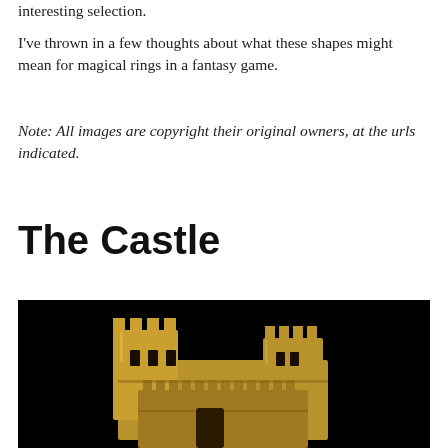interesting selection.
I've thrown in a few thoughts about what these shapes might mean for magical rings in a fantasy game.
Note: All images are copyright their original owners, at the urls indicated.
The Castle
[Figure (photo): A gold-colored miniature castle sculpture with battlements and towers, photographed against a black background.]